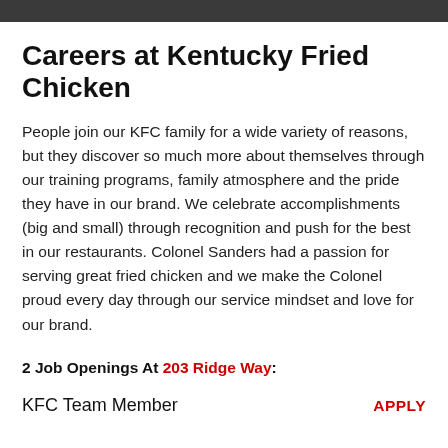Careers at Kentucky Fried Chicken
People join our KFC family for a wide variety of reasons, but they discover so much more about themselves through our training programs, family atmosphere and the pride they have in our brand. We celebrate accomplishments (big and small) through recognition and push for the best in our restaurants. Colonel Sanders had a passion for serving great fried chicken and we make the Colonel proud every day through our service mindset and love for our brand.
2 Job Openings At 203 Ridge Way:
KFC Team Member    APPLY